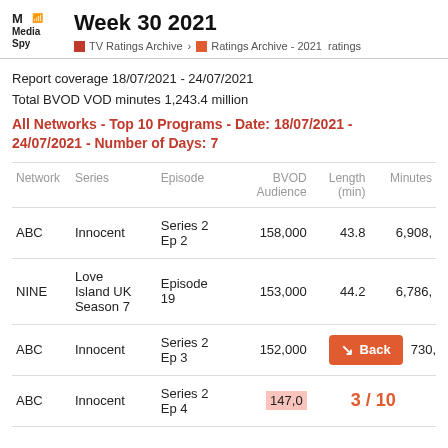Week 30 2021 — Media Spy — TV Ratings Archive › Ratings Archive - 2021 ratings
Report coverage 18/07/2021 - 24/07/2021
Total BVOD VOD minutes 1,243.4 million
All Networks - Top 10 Programs - Date: 18/07/2021 - 24/07/2021 - Number of Days: 7
| Network | Series | Episode | BVOD Audience | Length (min) | Minutes |
| --- | --- | --- | --- | --- | --- |
| ABC | Innocent | Series 2 Ep 2 | 158,000 | 43.8 | 6,908, |
| NINE | Love Island UK Season 7 | Episode 19 | 153,000 | 44.2 | 6,786, |
| ABC | Innocent | Series 2 Ep 3 | 152,000 |  | 730, |
| ABC | Innocent | Series 2 Ep 4 | 147,0 |  |  |